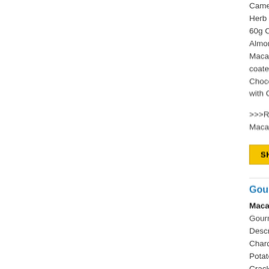Camembert Herb Chutney 60g Casses Almond Roy Macaroons 1 coated licori Chocolate To with Colourfu
>>>Read Mo Macarthur B
[Figure (other): Yellow SHOP NOW button]
Gourmet
Macarthur B Gourmet Ind Description: Chardonnay Potato Crisp Crackers 11 Herb Chutne